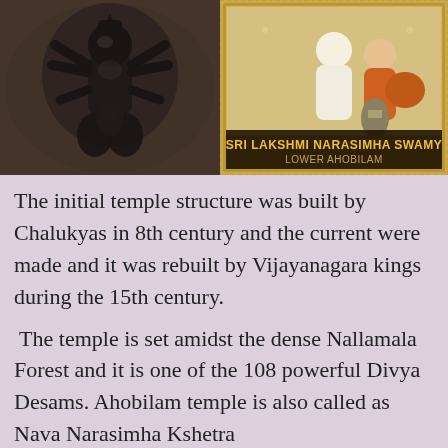[Figure (photo): Two religious images side by side: left shows a dark metal sculpture of a Hindu deity (Narasimha), right shows a colorful image of Sri Lakshmi Narasimha Swamy at Lower Ahobilam temple with a label reading 'SRI LAKSHMI NARASIMHA SWAMY LOWER AHOBILAM']
The initial temple structure was built by Chalukyas in 8th century and the current were made and it was rebuilt by Vijayanagara kings during the 15th century.
The temple is set amidst the dense Nallamala Forest and it is one of the 108 powerful Divya Desams. Ahobilam temple is also called as Nava Narasimha Kshetra